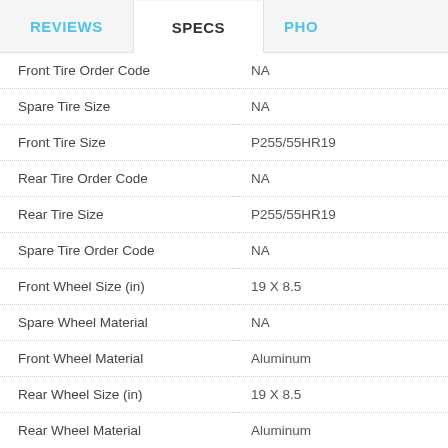REVIEWS | SPECS | PHO
| Spec | Value |
| --- | --- |
| Front Tire Order Code | NA |
| Spare Tire Size | NA |
| Front Tire Size | P255/55HR19 |
| Rear Tire Order Code | NA |
| Rear Tire Size | P255/55HR19 |
| Spare Tire Order Code | NA |
| Front Wheel Size (in) | 19 X 8.5 |
| Spare Wheel Material | NA |
| Front Wheel Material | Aluminum |
| Rear Wheel Size (in) | 19 X 8.5 |
| Rear Wheel Material | Aluminum |